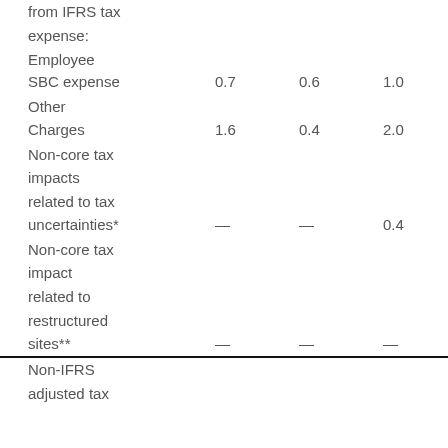|  |  |  |  |
| --- | --- | --- | --- |
| from IFRS tax |  |  |  |
| expense: |  |  |  |
| Employee |  |  |  |
| SBC expense | 0.7 | 0.6 | 1.0 |
| Other |  |  |  |
| Charges | 1.6 | 0.4 | 2.0 |
| Non-core tax |  |  |  |
| impacts |  |  |  |
| related to tax |  |  |  |
| uncertainties* | — | — | 0.4 |
| Non-core tax |  |  |  |
| impact |  |  |  |
| related to |  |  |  |
| restructured |  |  |  |
| sites** | — | — | — |
| Non-IFRS |  |  |  |
| adjusted tax |  |  |  |